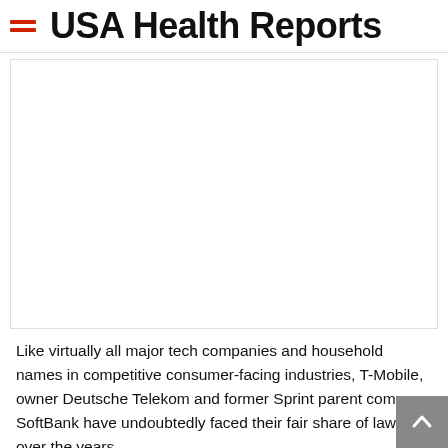USA Health Reports
[Figure (other): Advertisement or image placeholder — blank white rectangle with border]
Like virtually all major tech companies and household names in competitive consumer-facing industries, T-Mobile, owner Deutsche Telekom and former Sprint parent company SoftBank have undoubtedly faced their fair share of lawsuits over the years.